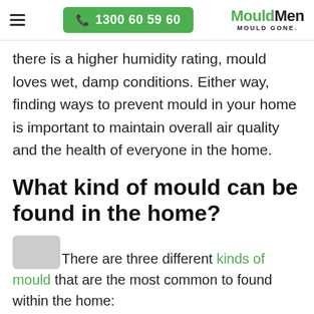☰  1300 60 59 60  MouldMen MOULD GONE.
there is a higher humidity rating, mould loves wet, damp conditions. Either way, finding ways to prevent mould in your home is important to maintain overall air quality and the health of everyone in the home.
What kind of mould can be found in the home?
There are three different kinds of mould that are the most common to found within the home: